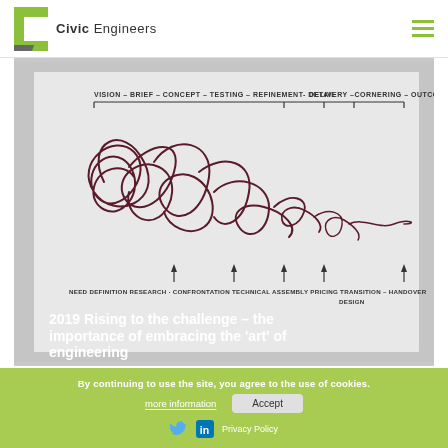Civic Engineers
[Figure (illustration): Hand-drawn sketch showing a design process diagram. Top row shows phases: VISION - BRIEF - CONCEPT - TESTING - REFINEMENT - DETAIL - DELIVERY - CORNERING - OUTCOME, with a horizontal bracket spanning them. The sketch shows a chaotic tangled line starting on the left (representing early chaotic design thinking) that gradually smooths out to a straight horizontal line on the right. Bottom row shows labels: NEED - DEFINITION - RESEARCH - CONFRONTATION - TECHNICAL - ASSEMBLY - PRICING - TRANSITION - HANDOVER - DESIGN. The sketch illustrates 'Rising to the challenge - the importance of embracing the art of engineering'.]
2019 Rising to the challenge – the importance of embracing the 'art' of engineering
By continuing to use the site, you agree to the use of cookies.
more information
Accept
Privacy Policy